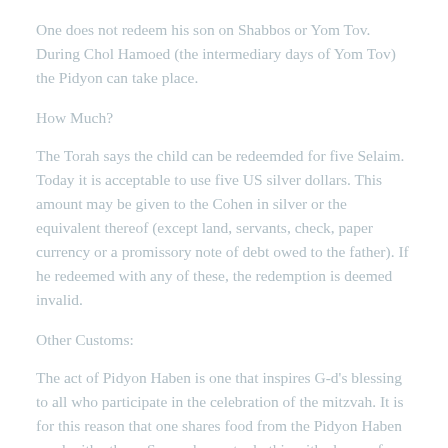One does not redeem his son on Shabbos or Yom Tov. During Chol Hamoed (the intermediary days of Yom Tov) the Pidyon can take place.
How Much?
The Torah says the child can be redeemded for five Selaim. Today it is acceptable to use five US silver dollars. This amount may be given to the Cohen in silver or the equivalent thereof (except land, servants, check, paper currency or a promissory note of debt owed to the father). If he redeemed with any of these, the redemption is deemed invalid.
Other Customs:
The act of Pidyon Haben is one that inspires G-d's blessing to all who participate in the celebration of the mitzvah. It is for this reason that one shares food from the Pidyon Haben meal with others. Some choose to do this with cloves of garlic and pieces of sugar as both have the ability of giving taste to more food, thereby enabling many others to participate in